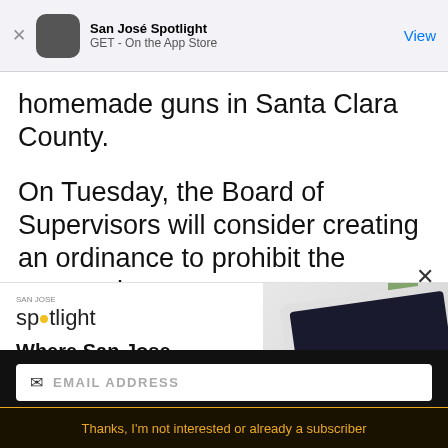San José Spotlight
GET - On the App Store
homemade guns in Santa Clara County.
On Tuesday, the Board of Supervisors will consider creating an ordinance to prohibit the possession,
[Figure (illustration): San José Spotlight advertisement banner: logo with spotlight text, tagline 'Where San Jose locals start the day.', url 'sanjosespotlight.com', and image of tablet device with coffee and plant]
EMAIL ADDRESS
SUBSCRIBE
Thanks, I'm not interested or already a subscriber